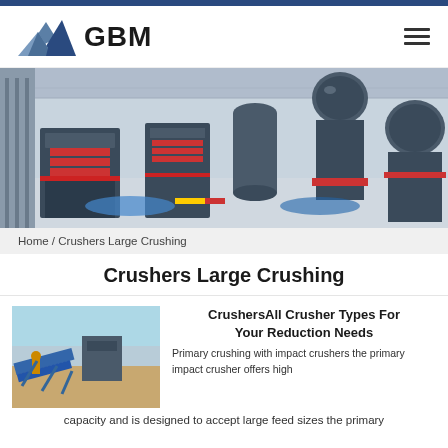[Figure (logo): GBM company logo with mountain icon and bold GBM text]
[Figure (photo): Industrial manufacturing facility with large crushing and milling machines in a warehouse]
Home / Crushers Large Crushing
Crushers Large Crushing
[Figure (photo): Outdoor industrial crushing equipment with blue conveyor belts and machinery]
CrushersAll Crusher Types For Your Reduction Needs
Primary crushing with impact crushers the primary impact crusher offers high capacity and is designed to accept large feed sizes the primary